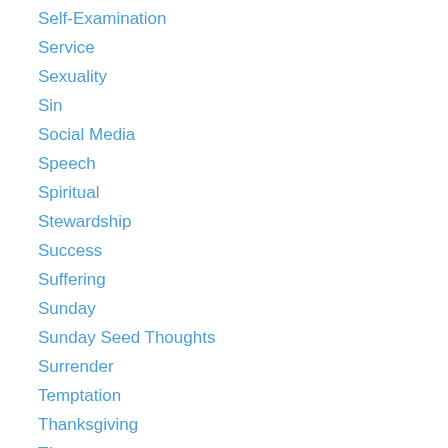Self-Examination
Service
Sexuality
Sin
Social Media
Speech
Spiritual
Stewardship
Success
Suffering
Sunday
Sunday Seed Thoughts
Surrender
Temptation
Thanksgiving
TIme
Today
Trials
Truth